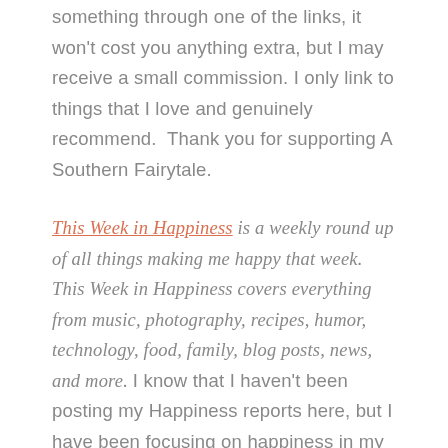something through one of the links, it won't cost you anything extra, but I may receive a small commission. I only link to things that I love and genuinely recommend.  Thank you for supporting A Southern Fairytale.
This Week in Happiness is a weekly round up of all things making me happy that week. This Week in Happiness covers everything from music, photography, recipes, humor, technology, food, family, blog posts, news, and more. I know that I haven't been posting my Happiness reports here, but I have been focusing on happiness in my everyday life and it's literally life-changing.   I encourage each of you to focus on your blessings and